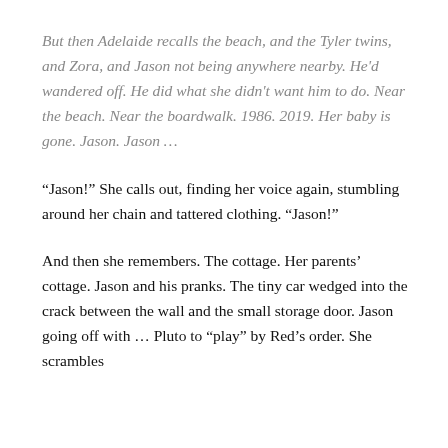But then Adelaide recalls the beach, and the Tyler twins, and Zora, and Jason not being anywhere nearby. He'd wandered off. He did what she didn't want him to do. Near the beach. Near the boardwalk. 1986. 2019. Her baby is gone. Jason. Jason …
“Jason!” She calls out, finding her voice again, stumbling around her chain and tattered clothing. “Jason!”
And then she remembers. The cottage. Her parents’ cottage. Jason and his pranks. The tiny car wedged into the crack between the wall and the small storage door. Jason going off with … Pluto to “play” by Red’s order. She scrambles